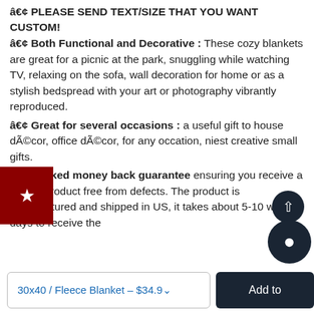â€¢ PLEASE SEND TEXT/SIZE THAT YOU WANT CUSTOM! â€¢ Both Functional and Decorative : These cozy blankets are great for a picnic at the park, snuggling while watching TV, relaxing on the sofa, wall decoration for home or as a stylish bedspread with your art or photography vibrantly reproduced. â€¢ Great for several occasions : a useful gift to house décor, office décor, for any occation, niest creative small gifts. â€¢ Backed money back guarantee ensuring you receive a quality product free from defects. The product is manufactured and shipped in US, it takes about 5-10 working days to receive the
[Figure (other): Red badge/button with a white star icon overlaid on the text content area]
30x40 / Fleece Blanket - $34.9
Add to